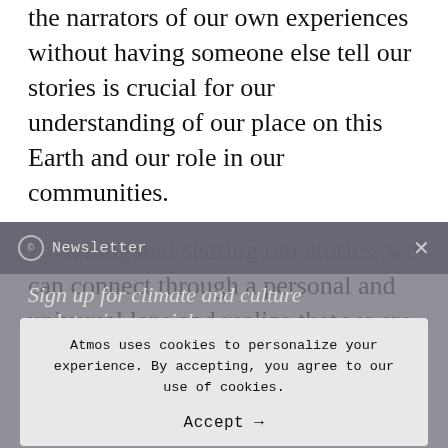the narrators of our own experiences without having someone else tell our stories is crucial for our understanding of our place on this Earth and our role in our communities.
By telling and sharing our stories, we can connect through a personal and universal lens and realize that we are not alone after all. We're very much connected. Through personal storytelling, I hope that we all adopt a more inclusive version of environmentalism that advocates for the protection
Newsletter
Sign up for climate and culture updates in your inbox
Atmos uses cookies to personalize your experience. By accepting, you agree to our use of cookies.
Accept →